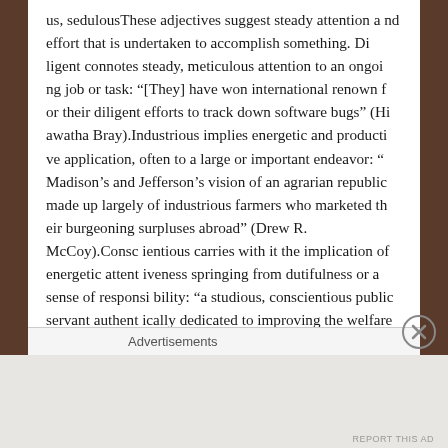us, sedulousThese adjectives suggest steady attention and effort that is undertaken to accomplish something. Diligent connotes steady, meticulous attention to an ongoing job or task: “[They] have won international renown for their diligent efforts to track down software bugs” (Hiawatha Bray).Industrious implies energetic and productive application, often to a large or important endeavor: “Madison’s and Jefferson’s vision of an agrarian republic made up largely of industrious farmers who marketed their burgeoning surpluses abroad” (Drew R. McCoy).Conscientious carries with it the implication of energetic attentiveness springing from dutifulness or a sense of responsibility: “a studious, conscientious public servant authentically dedicated to improving the welfare of his fellow human beings” (Randall Bennett Woods).Assiduous and th
Advertisements